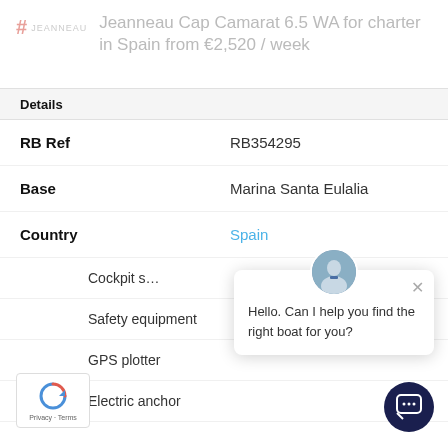Jeanneau Cap Camarat 6.5 WA for charter in Spain from €2,520 / week
Details
| RB Ref | RB354295 |
| Base | Marina Santa Eulalia |
| Country | Spain |
Cockpit s…
Safety equipment
GPS plotter
Electric anchor
Hello. Can I help you find the right boat for you?